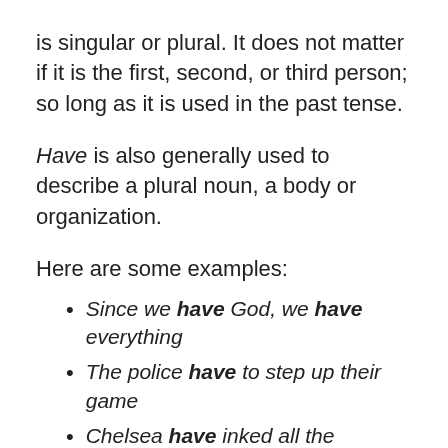is singular or plural. It does not matter if it is the first, second, or third person; so long as it is used in the past tense.
Have is also generally used to describe a plural noun, a body or organization.
Here are some examples:
Since we have God, we have everything
The police have to step up their game
Chelsea have inked all the